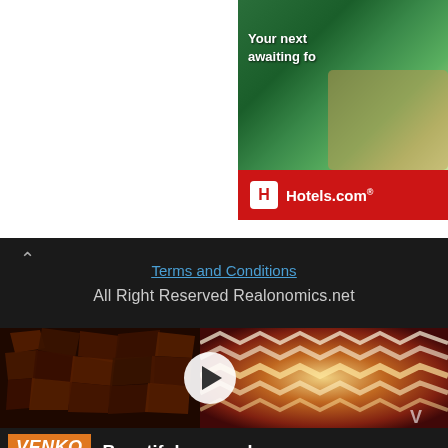[Figure (screenshot): Hotels.com advertisement banner in top right corner showing tropical background image with palm trees and pool, red Hotels.com branding at bottom with hotel icon logo]
Terms and Conditions
All Right Reserved Realonomics.net
[Figure (screenshot): YouTube video thumbnail showing a split view: left side dark wood chips/chunks, right side an illuminated lamp with chevron/zigzag wood veneer pattern glowing orange-amber. Play button in center. Venko Wood logo and 'Beautiful veneer lamp' text at bottom.]
Beautiful veneer lamp